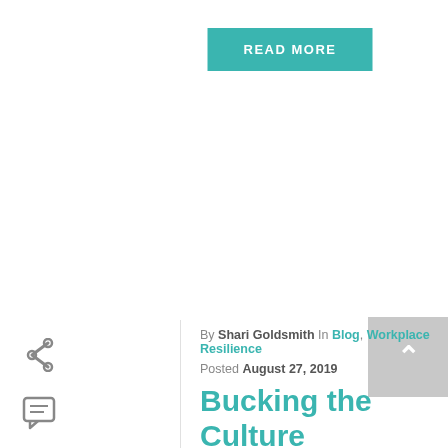[Figure (other): Teal 'READ MORE' button]
[Figure (other): Grey back-to-top button with upward arrow]
[Figure (other): Share icon (less-than style)]
[Figure (other): Comment/chat icon]
By Shari Goldsmith In Blog, Workplace Resilience Posted August 27, 2019
Bucking the Culture